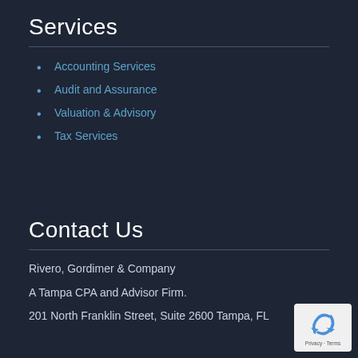Services
Accounting Services
Audit and Assurance
Valuation & Advisory
Tax Services
Contact Us
Rivero, Gordimer & Company
A Tampa CPA and Advisor Firm.
201 North Franklin Street, Suite 2600 Tampa, FL